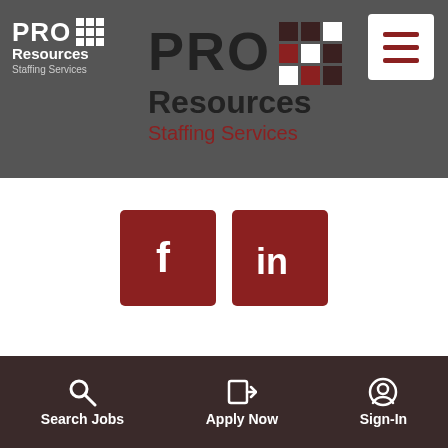[Figure (logo): PRO Resources Staffing Services logo small white version in dark grey header bar]
[Figure (logo): PRO Resources Staffing Services logo large version with dark/red grid icon]
[Figure (other): Hamburger menu button (three dark red lines) on white square background]
[Figure (other): Facebook and LinkedIn social media icon buttons in dark red squares]
© 2022 Copyright Pro Resources Staffing Services
Privacy Policy   |   Sitemap
Search Jobs   Apply Now   Sign-In